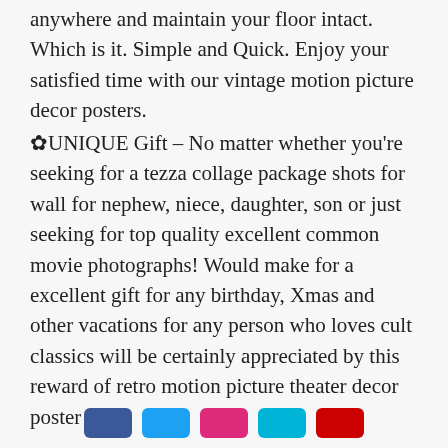anywhere and maintain your floor intact. Which is it. Simple and Quick. Enjoy your satisfied time with our vintage motion picture decor posters.
✿UNIQUE Gift – No matter whether you're seeking for a tezza collage package shots for wall for nephew, niece, daughter, son or just seeking for top quality excellent common movie photographs! Would make for a excellent gift for any birthday, Xmas and other vacations for any person who loves cult classics will be certainly appreciated by this reward of retro motion picture theater decor poster
[Figure (other): Row of five social media share buttons in blue, light blue, red, cyan, and red colors at the bottom of the page]